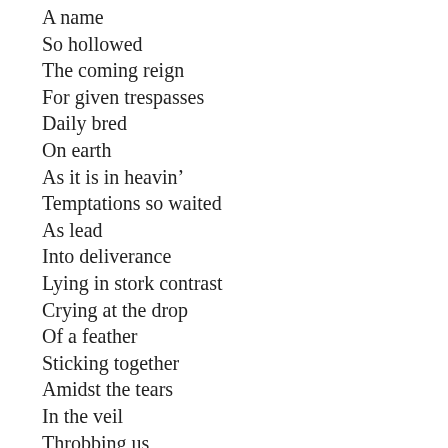A name
So hollowed
The coming reign
For given trespasses
Daily bred
On earth
As it is in heavin’
Temptations so waited
As lead
Into deliverance
Lying in stork contrast
Crying at the drop
Of a feather
Sticking together
Amidst the tears
In the veil
Throbbing us
Of our temple